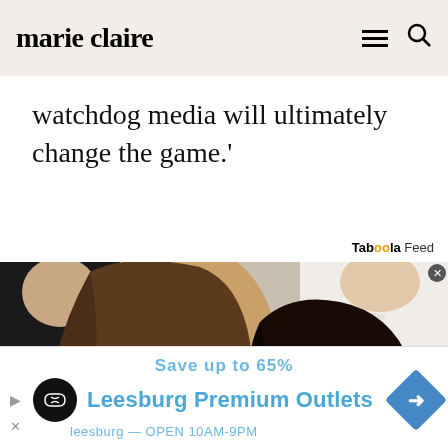marie claire
watchdog media will ultimately change the game.'
Taboola Feed
[Figure (photo): Two women with dark hair seated closely together, appearing to be in conversation at what looks like a sporting event. One woman has long straight brown hair and is facing left; the other has dark hair pulled back and is facing right. People in white clothing are visible in the background.]
Save up to 65%
Leesburg Premium Outlets